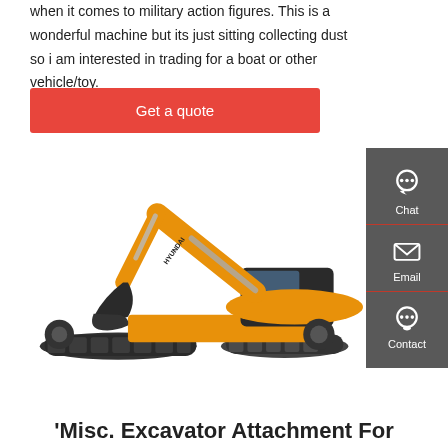when it comes to military action figures. This is a wonderful machine but its just sitting collecting dust so i am interested in trading for a boat or other vehicle/toy.
Get a quote
[Figure (photo): Orange Hyundai excavator on white background, facing left with bucket lowered]
[Figure (infographic): Dark grey sidebar with Chat, Email, and Contact icons]
'Misc. Excavator Attachment For